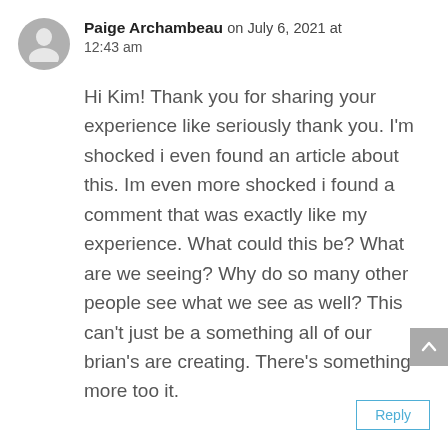Paige Archambeau on July 6, 2021 at 12:43 am
Hi Kim! Thank you for sharing your experience like seriously thank you. I'm shocked i even found an article about this. Im even more shocked i found a comment that was exactly like my experience. What could this be? What are we seeing? Why do so many other people see what we see as well? This can't just be a something all of our brian's are creating. There's something more too it.